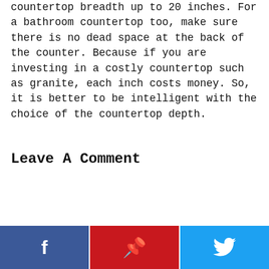countertop breadth up to 20 inches. For a bathroom countertop too, make sure there is no dead space at the back of the counter. Because if you are investing in a costly countertop such as granite, each inch costs money. So, it is better to be intelligent with the choice of the countertop depth.
Leave A Comment
[Figure (infographic): Social share bar with three buttons: Facebook (blue, f icon), Pinterest (red, P icon), Twitter (light blue, bird icon)]